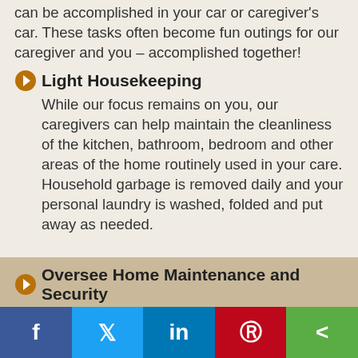can be accomplished in your car or caregiver's car. These tasks often become fun outings for our caregiver and you – accomplished together!
Light Housekeeping
While our focus remains on you, our caregivers can help maintain the cleanliness of the kitchen, bathroom, bedroom and other areas of the home routinely used in your care. Household garbage is removed daily and your personal laundry is washed, folded and put away as needed.
Oversee Home Maintenance and Security